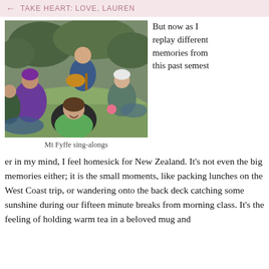TAKE HEART: LOVE, LAUREN
[Figure (photo): Group of young people sitting on a grassy hillside with bushes behind them. One person plays an acoustic guitar, others are laughing and smiling. One person in the foreground is lying back laughing. People are wearing casual outdoor clothing including a purple hoodie and a white beanie.]
Mt Fyffe sing-alongs
But now as I replay different memories from this past semester in my mind, I feel homesick for New Zealand. It's not even the big memories either; it is the small moments, like packing lunches on the West Coast trip, or wandering onto the back deck catching some sunshine during our fifteen minute breaks from morning class. It's the feeling of holding warm tea in a beloved mug and